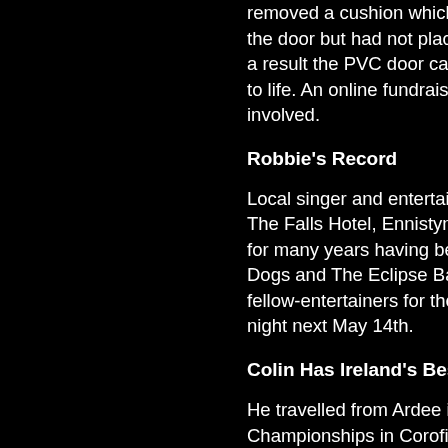removed a cushion which had caught fire at the door but had not placed it sufficiently far away; as a result the PVC door caught fire and this spread to life. An online fundraising initiative was also involved.
Robbie's Record
Local singer and entertainer Robb... The Falls Hotel, Ennistymon. Robb... for many years having been a me... Dogs and The Eclipse Band to me... fellow-entertainers for the release... night next May 14th.
Colin Has Ireland's Best Beard
He travelled from Ardee in Co. Lo... Championships in Corofin on Satu... winner of Ireland's Best Beard co... Cork claimed the Best Natural Be... won the Best Styled Full Beard aw... victories in the main competition f... other category prizes won at the 3...